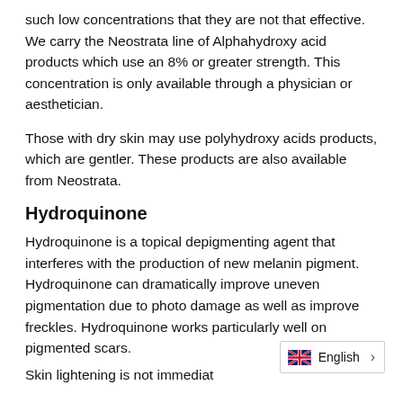such low concentrations that they are not that effective. We carry the Neostrata line of Alphahydroxy acid products which use an 8% or greater strength. This concentration is only available through a physician or aesthetician.
Those with dry skin may use polyhydroxy acids products, which are gentler. These products are also available from Neostrata.
Hydroquinone
Hydroquinone is a topical depigmenting agent that interferes with the production of new melanin pigment. Hydroquinone can dramatically improve uneven pigmentation due to photo damage as well as improve freckles. Hydroquinone works particularly well on pigmented scars.
Skin lightening is not immediat...